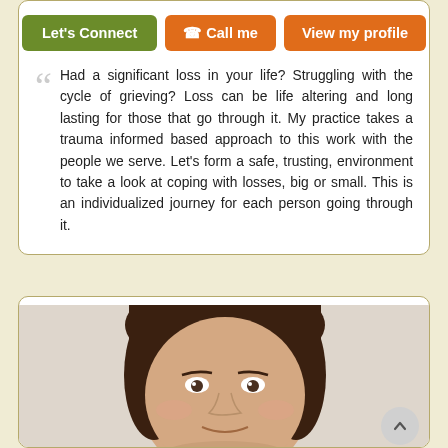[Figure (screenshot): Three buttons: 'Let's Connect' (green), 'Call me' (orange with phone icon), 'View my profile' (orange)]
Had a significant loss in your life? Struggling with the cycle of grieving? Loss can be life altering and long lasting for those that go through it. My practice takes a trauma informed based approach to this work with the people we serve. Let's form a safe, trusting, environment to take a look at coping with losses, big or small. This is an individualized journey for each person going through it.
[Figure (photo): Close-up photo of a woman with dark hair, smiling slightly, with a blurred background.]